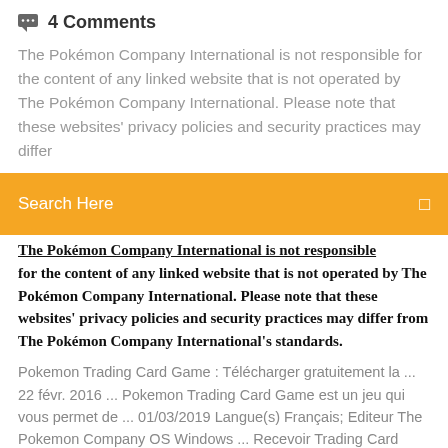4 Comments
The Pokémon Company International is not responsible for the content of any linked website that is not operated by The Pokémon Company International. Please note that these websites' privacy policies and security practices may differ
Search Here
The Pokémon Company International is not responsible for the content of any linked website that is not operated by The Pokémon Company International. Please note that these websites' privacy policies and security practices may differ from The Pokémon Company International's standards.
Pokemon Trading Card Game : Télécharger gratuitement la ... 22 févr. 2016 ... Pokemon Trading Card Game est un jeu qui vous permet de ... 01/03/2019 Langue(s) Français; Editeur The Pokemon Company OS Windows ... Recevoir Trading Card Game Microsoft Store fr FR 1 nov. 2013 ... Do you know how